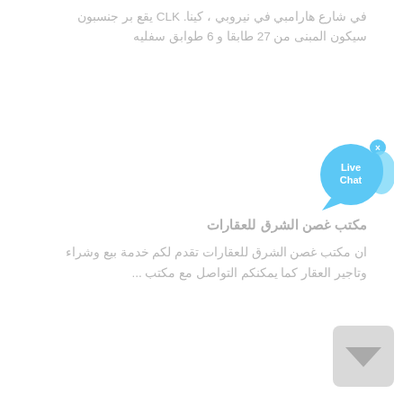في شارع هارامبي في نيروبي ، كينا. CLK يقع بر جنسبون سيكون المبنى من 27 طابقا و 6 طوابق سفليه
[Figure (screenshot): Live Chat button widget — a cyan/blue circular chat bubble with fish tail, displaying 'Live Chat' text and a close (×) button in the top right corner.]
مكتب غصن الشرق للعقارات
ان مكتب غصن الشرق للعقارات تقدم لكم خدمة بيع وشراء وتاجير العقار كما يمكنكم التواصل مع مكتب ...
[Figure (screenshot): A small gray rounded rectangle button in the bottom right corner, possibly a scroll-to-top or navigation button with a downward chevron arrow.]